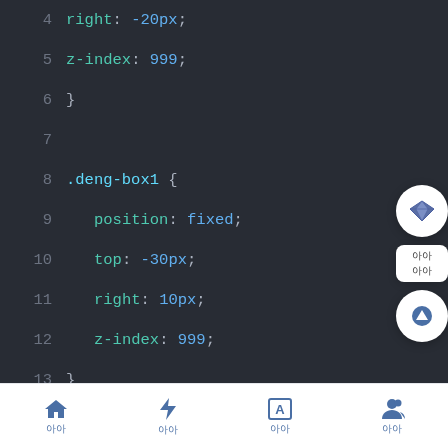[Figure (screenshot): Code editor screenshot showing CSS lines 4-21 with syntax highlighting. Line numbers on the left, dark background (#282c34). Code shows CSS properties: right: -20px, z-index: 999, closing brace, blank, .deng-box1 { position: fixed, top: -30px, right: 10px, z-index: 999, closing brace, blank, .deng-box1 .deng { position: relative, width: 120px, height: 90px, margin: 50px, background: #d8000f, background: rgba(216, 0, 15, 0.8), partially visible border-radius line. Right side has floating buttons (diamond, Korean text, up arrow). Bottom has navigation bar with home, bolt, A, person icons and Korean labels.]